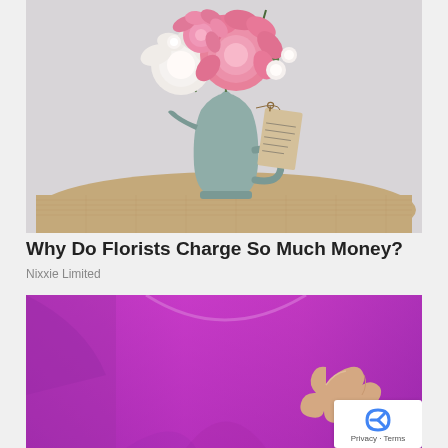[Figure (photo): A sage green metal pitcher/jug containing a beautiful arrangement of pink and white peonies and other flowers with greenery, sitting on a burlap surface against a light grey background. A handwritten gift tag hangs from the pitcher.]
Why Do Florists Charge So Much Money?
Nixxie Limited
[Figure (photo): Close-up of an elderly person wearing a bright purple/magenta long-sleeve shirt, with a hand making a gesturing motion across the chest area.]